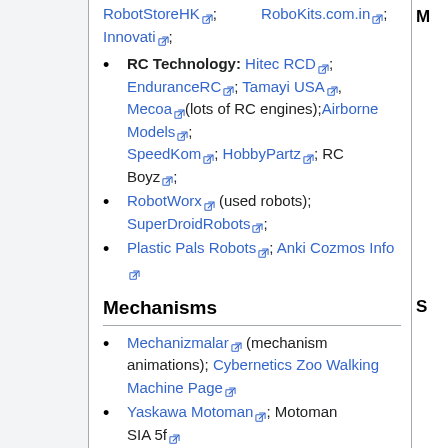RobotStoreHK; RoboKits.com.in; Innovati;
RC Technology: Hitec RCD; EnduranceRC; Tamayi USA, Mecoa(lots of RC engines);Airborne Models; SpeedKom; HobbyPartz; RC Boyz;
RobotWorx (used robots); SuperDroidRobots;
Plastic Pals Robots; Anki Cozmos Info
Mechanisms
Mechanizmalar (mechanism animations); Cybernetics Zoo Walking Machine Page
Yaskawa Motoman; Motoman SIA 5f
Double 4-bar arm design;